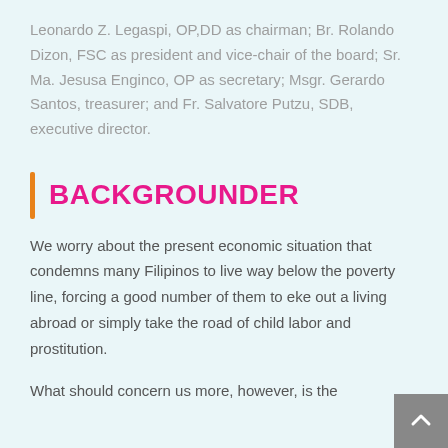Leonardo Z. Legaspi, OP,DD as chairman; Br. Rolando Dizon, FSC as president and vice-chair of the board; Sr. Ma. Jesusa Enginco, OP as secretary; Msgr. Gerardo Santos, treasurer; and Fr. Salvatore Putzu, SDB, executive director.
BACKGROUNDER
We worry about the present economic situation that condemns many Filipinos to live way below the poverty line, forcing a good number of them to eke out a living abroad or simply take the road of child labor and prostitution.
What should concern us more, however, is the